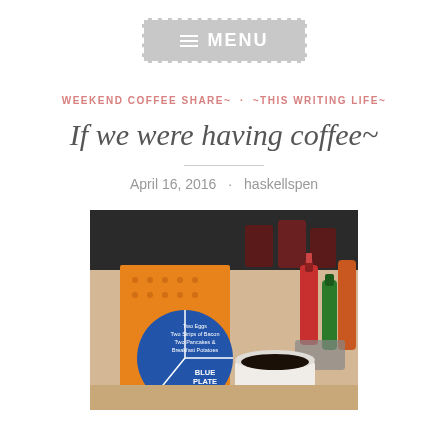MENU
WEEKEND COFFEE SHARE~  ·  ~THIS WRITING LIFE~
If we were having coffee~
April 16, 2016  ·  haskellspen
[Figure (photo): Diner table scene with coffee cup, ketchup bottles, hot sauce, dark red drinking glasses, and a restaurant menu showing Blue Plate Special for $6.85 with Two Eggs, Two Strips of Bacon, Two Pancakes & Breakfast Potatoes]